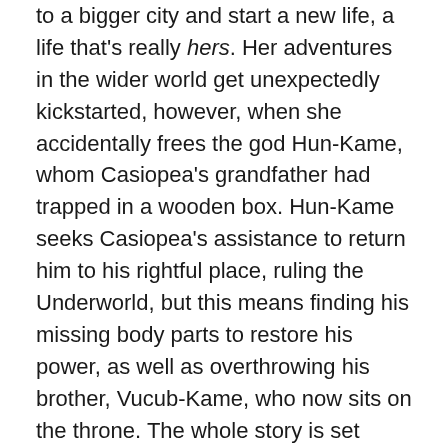to a bigger city and start a new life, a life that's really hers. Her adventures in the wider world get unexpectedly kickstarted, however, when she accidentally frees the god Hun-Kame, whom Casiopea's grandfather had trapped in a wooden box. Hun-Kame seeks Casiopea's assistance to return him to his rightful place, ruling the Underworld, but this means finding his missing body parts to restore his power, as well as overthrowing his brother, Vucub-Kame, who now sits on the throne. The whole story is set against the backdrop of Mexico during the 1920s, setting it firmly as historical fantasy.
I'll be honest here: the place and time period aren't ones I know very much about, so I can't comment on any artistic liberties or anything of the sort. As for the mythology… Well, I knew how to pronounce Xibalba before I opened